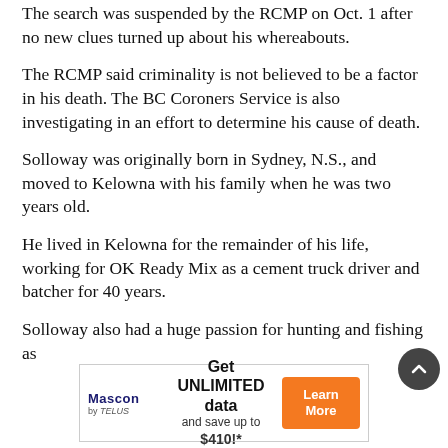The search was suspended by the RCMP on Oct. 1 after no new clues turned up about his whereabouts.
The RCMP said criminality is not believed to be a factor in his death. The BC Coroners Service is also investigating in an effort to determine his cause of death.
Solloway was originally born in Sydney, N.S., and moved to Kelowna with his family when he was two years old.
He lived in Kelowna for the remainder of his life, working for OK Ready Mix as a cement truck driver and batcher for 40 years.
Solloway also had a huge passion for hunting and fishing as
[Figure (other): Advertisement banner for Mascon by TELUS: 'Get UNLIMITED data and save up to $410!*' with a Learn More button]